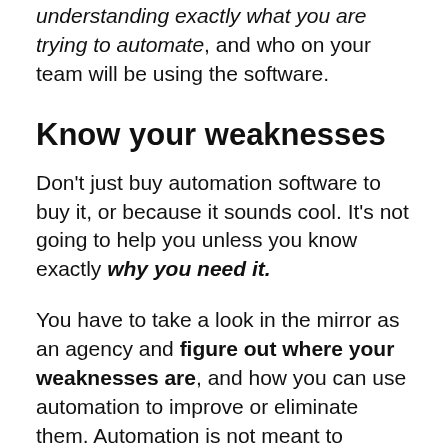understanding exactly what you are trying to automate, and who on your team will be using the software.
Know your weaknesses
Don't just buy automation software to buy it, or because it sounds cool. It's not going to help you unless you know exactly why you need it.
You have to take a look in the mirror as an agency and figure out where your weaknesses are, and how you can use automation to improve or eliminate them. Automation is not meant to replace every